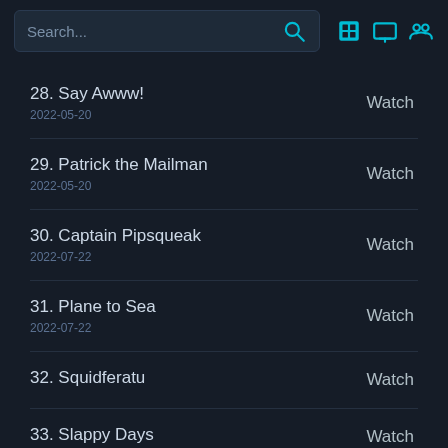Search...
28. Say Awww!
2022-05-20
Watch
29. Patrick the Mailman
2022-05-20
Watch
30. Captain Pipsqueak
2022-07-22
Watch
31. Plane to Sea
2022-07-22
Watch
32. Squidferatu
Watch
33. Slappy Days
Watch